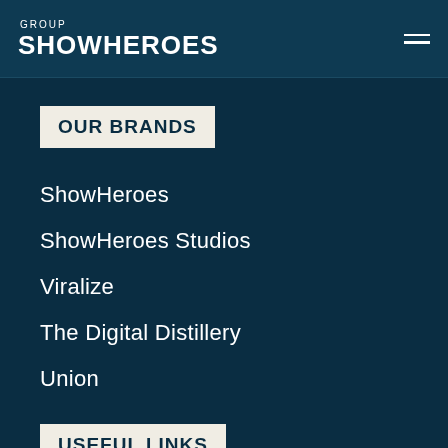GROUP SHOWHEROES
OUR BRANDS
ShowHeroes
ShowHeroes Studios
Viralize
The Digital Distillery
Union
USEFUL LINKS